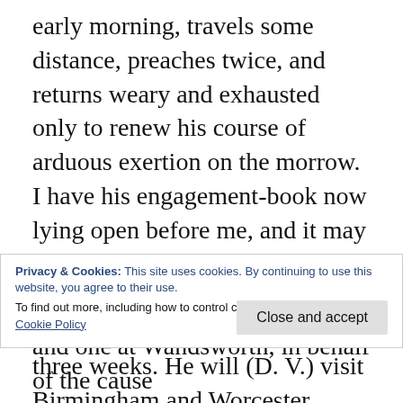early morning, travels some distance, preaches twice, and returns weary and exhausted only to renew his course of arduous exertion on the morrow. I have his engagement-book now lying open before me, and it may give you some idea of his zeal in his Master's service, if I tell you what work I find in it for the next three weeks. He will (D. V.) visit Birmingham and Worcester, preaching not less than six sermons during the three days devoted to those two towns: Needingworth and Sandbeach in
Privacy & Cookies: This site uses cookies. By continuing to use this website, you agree to their use.
To find out more, including how to control cookies, see here: Cookie Policy
and one at Wandsworth, in behalf of the cause